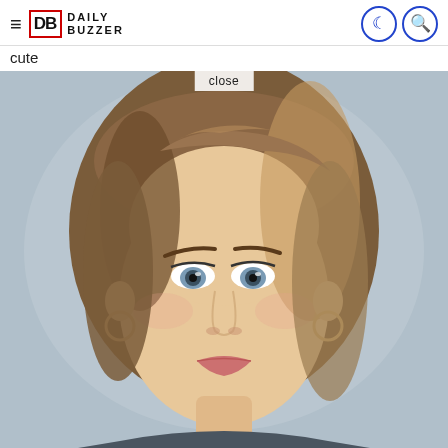Daily Buzzer — hamburger menu, logo, moon icon, search icon
cute
[Figure (photo): Close-up yearbook-style portrait photo of a young woman with medium-length wavy brown/blonde hair, blue eyes, wearing hoop earrings, against a light blue-grey background. A 'close' button appears at the top center of the image.]